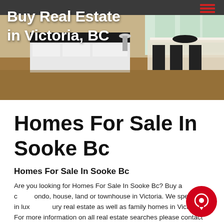[Figure (photo): Modern kitchen and dining area interior photo with white cabinetry, black countertops, and a glass dining table]
Buy Real Estate in Victoria, BC
Homes For Sale In Sooke Bc
Homes For Sale In Sooke Bc
Are you looking for Homes For Sale In Sooke Bc? Buy a condo, house, land or townhouse in Victoria. We specialise in luxury real estate as well as family homes in Victoria. For more information on all real estate searches please contact us.